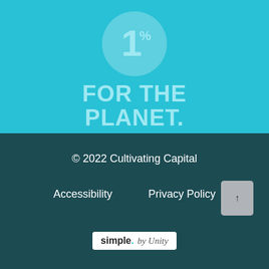[Figure (logo): 1% For The Planet logo: a circle with '1%' text inside, followed by bold 'FOR THE PLANET.' text below, all in light cyan on a turquoise background]
© 2022 Cultivating Capital
Accessibility
Privacy Policy
[Figure (logo): simple. by Unity logo: white rounded rectangle with 'simple.' in bold black and 'by Unity' in italic gray]